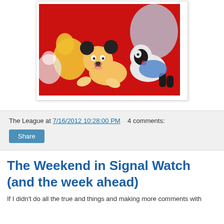[Figure (photo): Photo of several cartoon toy figurines including a mouse character lying prone and a skunk-like character on a red background]
The League at 7/16/2012 10:28:00 PM   4 comments:
Share
The Weekend in Signal Watch (and the week ahead)
If I didn't do all the true and things and making more comments with